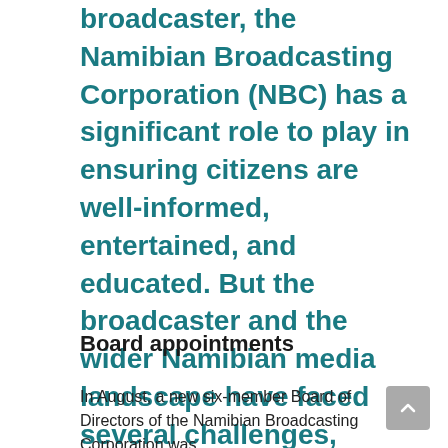broadcaster, the Namibian Broadcasting Corporation (NBC) has a significant role to play in ensuring citizens are well-informed, entertained, and educated. But the broadcaster and the wider Namibian media landscape have faced several challenges, further compounded by the COVID-19 pandemic. Here, we provide a snapshot of NBC's recent developments, its handling of the COVID-19 pandemic, and the country's media landscape.
Board appointments
In August, a new six-member Board of Directors of the Namibian Broadcasting Corporation was